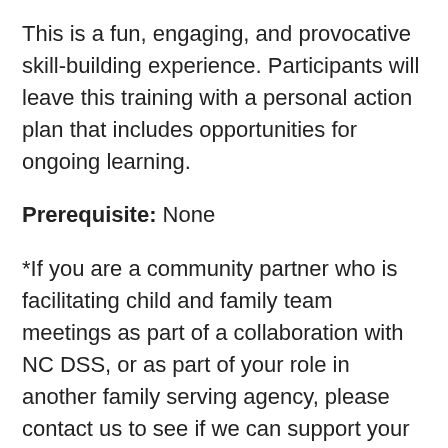This is a fun, engaging, and provocative skill-building experience. Participants will leave this training with a personal action plan that includes opportunities for ongoing learning.
Prerequisite: None
*If you are a community partner who is facilitating child and family team meetings as part of a collaboration with NC DSS, or as part of your role in another family serving agency, please contact us to see if we can support your participation in this learning event.
Target Audience: Child welfare social workers and staff who will facilitate child and family teams